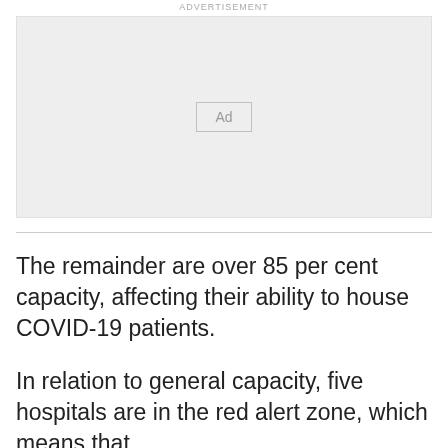ADVERTISEMENT
[Figure (other): Advertisement placeholder box with 'Ad' label in center on light grey background]
The remainder are over 85 per cent capacity, affecting their ability to house COVID-19 patients.
In relation to general capacity, five hospitals are in the red alert zone, which means that